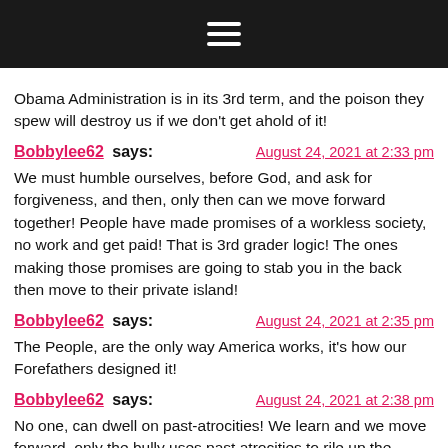☰ (hamburger menu icon)
Obama Administration is in its 3rd term, and the poison they spew will destroy us if we don't get ahold of it!
Bobbylee62 says: August 24, 2021 at 2:33 pm
We must humble ourselves, before God, and ask for forgiveness, and then, only then can we move forward together! People have made promises of a workless society, no work and get paid! That is 3rd grader logic! The ones making those promises are going to stab you in the back then move to their private island!
Bobbylee62 says: August 24, 2021 at 2:35 pm
The People, are the only way America works, it's how our Forefathers designed it!
Bobbylee62 says: August 24, 2021 at 2:38 pm
No one, can dwell on past-atrocities! We learn and we move forward, only the bully uses past atrocities to rile up the anger